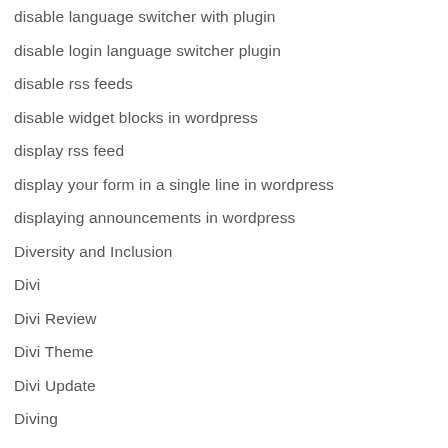disable language switcher with plugin
disable login language switcher plugin
disable rss feeds
disable widget blocks in wordpress
display rss feed
display your form in a single line in wordpress
displaying announcements in wordpress
Diversity and Inclusion
Divi
Divi Review
Divi Theme
Divi Update
Diving